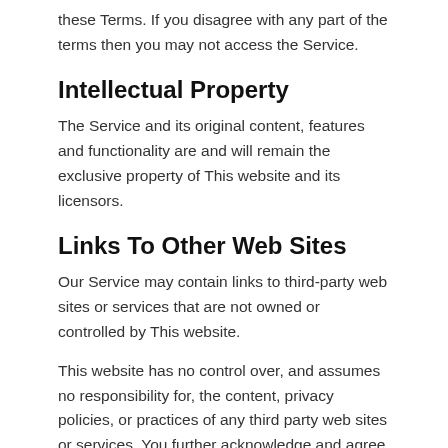these Terms. If you disagree with any part of the terms then you may not access the Service.
Intellectual Property
The Service and its original content, features and functionality are and will remain the exclusive property of This website and its licensors.
Links To Other Web Sites
Our Service may contain links to third-party web sites or services that are not owned or controlled by This website.
This website has no control over, and assumes no responsibility for, the content, privacy policies, or practices of any third party web sites or services. You further acknowledge and agree that This website shall not be responsible or liable, directly or